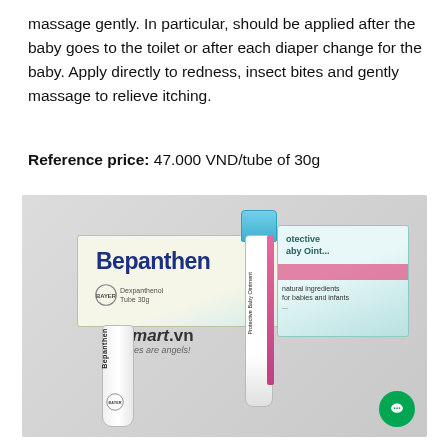massage gently. In particular, should be applied after the baby goes to the toilet or after each diaper change for the baby. Apply directly to redness, insect bites and gently massage to relieve itching.
Reference price: 47.000 VND/tube of 30g
[Figure (photo): Photo of Bepanthen Protective Baby Ointment product: a box and tube of Bepanthen cream, with famart.vn watermark overlay. The tube is white with blue cap and pink stripe. Box is cream/teal colored.]